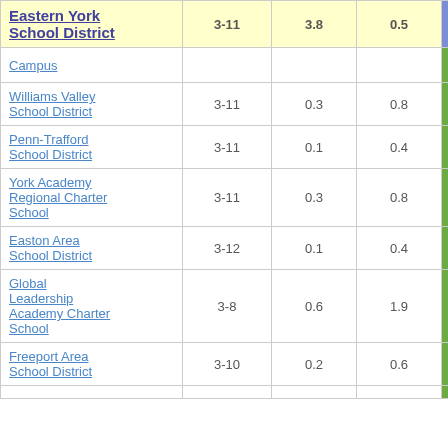| School District | Grades | Col3 | Col4 | Score |
| --- | --- | --- | --- | --- |
| Eastern York School District | 3-11 | 3.8 | 0.5 | 7.92 |
| Campus (partial) |  |  |  |  |
| Williams Valley School District | 3-11 | 0.3 | 0.8 | 0.37 |
| Penn-Trafford School District | 3-11 | 0.1 | 0.4 | 0.36 |
| York Academy Regional Charter School | 3-11 | 0.3 | 0.8 | 0.34 |
| Easton Area School District | 3-12 | 0.1 | 0.4 | 0.32 |
| Global Leadership Academy Charter School | 3-8 | 0.6 | 1.9 | 0.31 |
| Freeport Area School District | 3-10 | 0.2 | 0.6 | 0.30 |